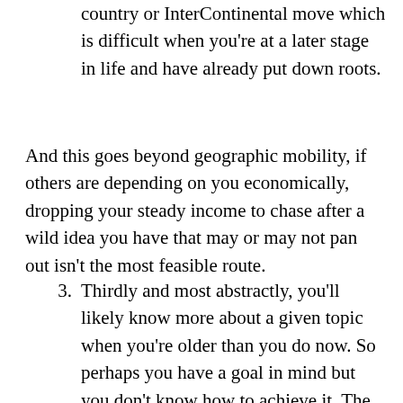country or InterContinental move which is difficult when you're at a later stage in life and have already put down roots.
And this goes beyond geographic mobility, if others are depending on you economically, dropping your steady income to chase after a wild idea you have that may or may not pan out isn't the most feasible route.
3. Thirdly and most abstractly, you'll likely know more about a given topic when you're older than you do now. So perhaps you have a goal in mind but you don't know how to achieve it. The key is as you work towards it you'll gain the knowledge and experience. Each step you take opens up more opportunities and know-how. But you have to start stepping, even when you don't know the answer.